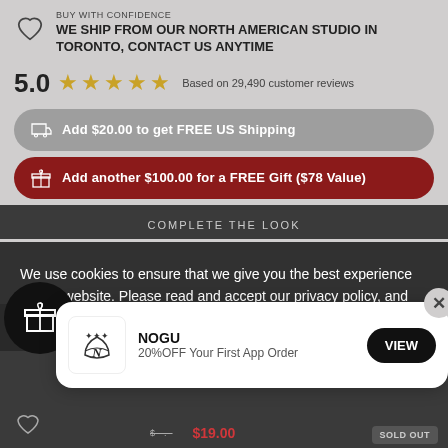BUY WITH CONFIDENCE
WE SHIP FROM OUR NORTH AMERICAN STUDIO IN TORONTO, CONTACT US ANYTIME
5.0 ★★★★★ Based on 29,490 customer reviews
Add $20.00 to get FREE US Shipping
Add another $100.00 for a FREE Gift ($78 Value)
COMPLETE THE LOOK
We use cookies to ensure that we give you the best experience on our website. Please read and accept our privacy policy, and policy on cookies to give you the best experience possible
NOGU
20%OFF Your First App Order
VIEW
$19.00
SOLD OUT